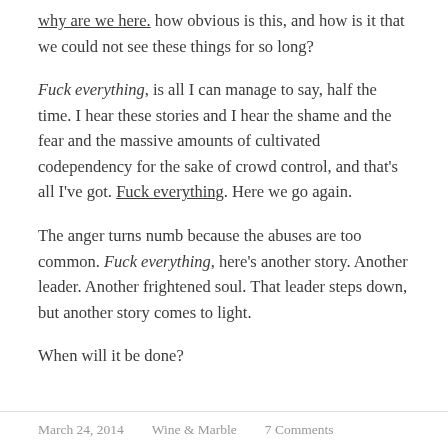why are we here. How obvious is this, and how is it that we could not see these things for so long?
Fuck everything, is all I can manage to say, half the time. I hear these stories and I hear the shame and the fear and the massive amounts of cultivated codependency for the sake of crowd control, and that’s all I’ve got. Fuck everything. Here we go again.
The anger turns numb because the abuses are too common. Fuck everything, here’s another story. Another leader. Another frightened soul. That leader steps down, but another story comes to light.
When will it be done?
March 24, 2014    Wine & Marble    7 Comments